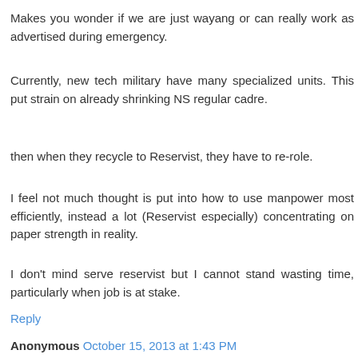Makes you wonder if we are just wayang or can really work as advertised during emergency.
Currently, new tech military have many specialized units. This put strain on already shrinking NS regular cadre.
then when they recycle to Reservist, they have to re-role.
I feel not much thought is put into how to use manpower most efficiently, instead a lot (Reservist especially) concentrating on paper strength in reality.
I don't mind serve reservist but I cannot stand wasting time, particularly when job is at stake.
Reply
Anonymous October 15, 2013 at 1:43 PM